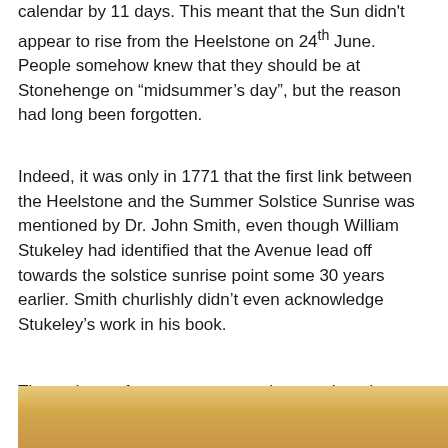calendar by 11 days. This meant that the Sun didn't appear to rise from the Heelstone on 24th June. People somehow knew that they should be at Stonehenge on “midsummer’s day”, but the reason had long been forgotten.
Indeed, it was only in 1771 that the first link between the Heelstone and the Summer Solstice Sunrise was mentioned by Dr. John Smith, even though William Stukeley had identified that the Avenue lead off towards the solstice sunrise point some 30 years earlier. Smith churlishly didn’t even acknowledge Stukeley’s work in his book.
These days, of course, everyone knows about it.
[Figure (photo): Partial view of a golden/sandy landscape, likely Stonehenge surroundings at sunrise or sunset, showing warm yellow and orange hues.]